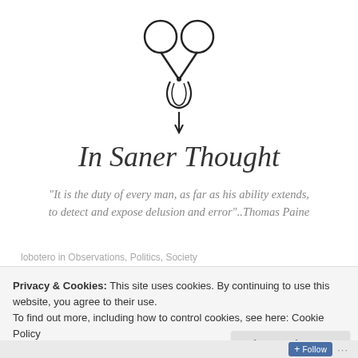[Figure (logo): Scissors icon logo — stylized scissors with decorative flourishes, drawn in black outline on white background]
In Saner Thought
"It is the duty of every man, as far as his ability extends, to detect and expose delusion and error"..Thomas Paine
lobotero in Observations, Politics, Society
Privacy & Cookies: This site uses cookies. By continuing to use this website, you agree to their use.
To find out more, including how to control cookies, see here: Cookie Policy
Close and accept